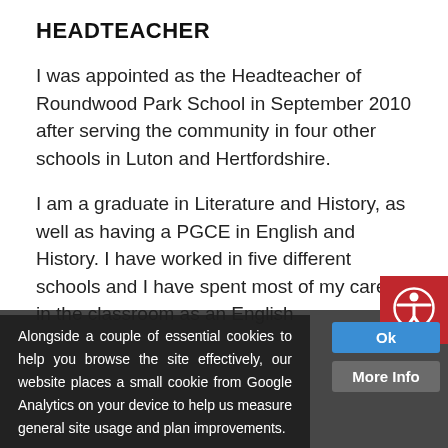HEADTEACHER
I was appointed as the Headteacher of Roundwood Park School in September 2010 after serving the community in four other schools in Luton and Hertfordshire.
I am a graduate in Literature and History, as well as having a PGCE in English and History. I have worked in five different schools and I have spent most of my career in the classroom as an English
Alongside a couple of essential cookies to help you browse the site effectively, our website places a small cookie from Google Analytics on your device to help us measure general site usage and plan improvements.